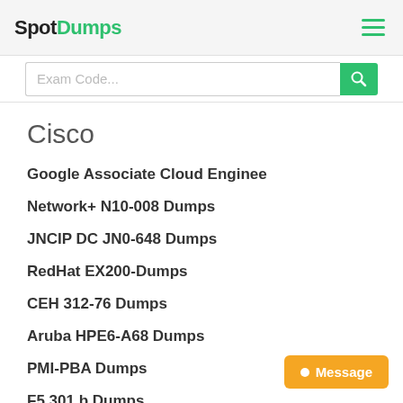SpotDumps
[Figure (screenshot): Search bar with placeholder text 'Exam Code...' and a green search button with magnifying glass icon]
Cisco
Google Associate Cloud Enginee
Network+ N10-008 Dumps
JNCIP DC JN0-648 Dumps
RedHat EX200-Dumps
CEH 312-76 Dumps
Aruba HPE6-A68 Dumps
PMI-PBA Dumps
F5 301 b Dumps